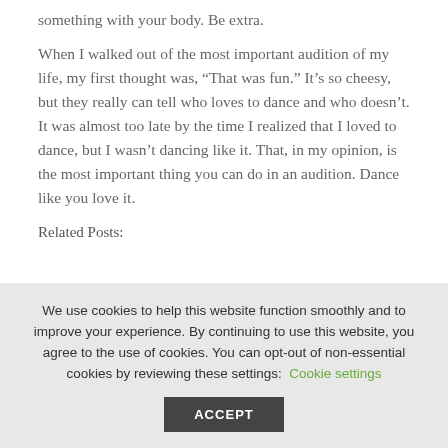something with your body. Be extra.
When I walked out of the most important audition of my life, my first thought was, “That was fun.” It’s so cheesy, but they really can tell who loves to dance and who doesn’t. It was almost too late by the time I realized that I loved to dance, but I wasn’t dancing like it. That, in my opinion, is the most important thing you can do in an audition. Dance like you love it.
Related Posts:
We use cookies to help this website function smoothly and to improve your experience. By continuing to use this website, you agree to the use of cookies. You can opt-out of non-essential cookies by reviewing these settings: Cookie settings
ACCEPT